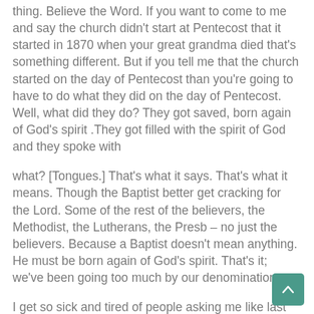thing. Believe the Word. If you want to come to me and say the church didn't start at Pentecost that it started in 1870 when your great grandma died that's something different. But if you tell me that the church started on the day of Pentecost than you're going to have to do what they did on the day of Pentecost. Well, what did they do? They got saved, born again of God's spirit .They got filled with the spirit of God and they spoke with
what? [Tongues.] That's what it says. That's what it means. Though the Baptist better get cracking for the Lord. Some of the rest of the believers, the Methodist, the Lutherans, the Presb – no just the believers. Because a Baptist doesn't mean anything. He must be born again of God's spirit. That's it; we've been going too much by our denomination.
I get so sick and tired of people asking me like last week too, they say to me what denomination do you belong to? Isn't that right? What difference does it make